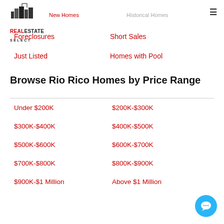[Figure (logo): Real Estate Select logo with city skyline icon]
New Homes   Historical Homes
Foreclosures
Short Sales
Just Listed
Homes with Pool
Browse Rio Rico Homes by Price Range
Under $200K
$200K-$300K
$300K-$400K
$400K-$500K
$500K-$600K
$600K-$700K
$700K-$800K
$800K-$900K
$900K-$1 Million
Above $1 Million